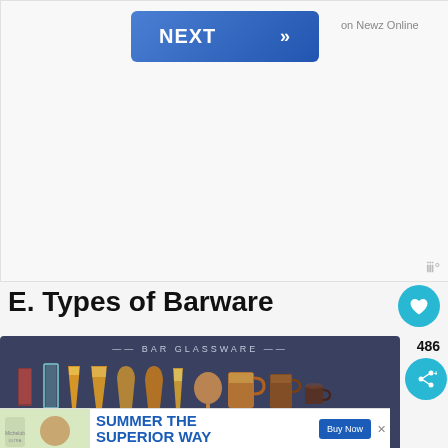[Figure (screenshot): Blue NEXT button with double chevron arrows, with text 'on Newz Online' to the right, on a light gray background. A watermark logo appears at bottom right of the panel.]
E. Types of Barware
[Figure (infographic): Bar Glassware infographic showing various types of bar glasses on a dark blue-gray background with the title 'BAR GLASSWARE']
[Figure (screenshot): Advertisement banner: Michelob Ultra beer ad with burger image and text 'SUMMER THE SUPERIOR WAY' and a 'Buy Now' button]